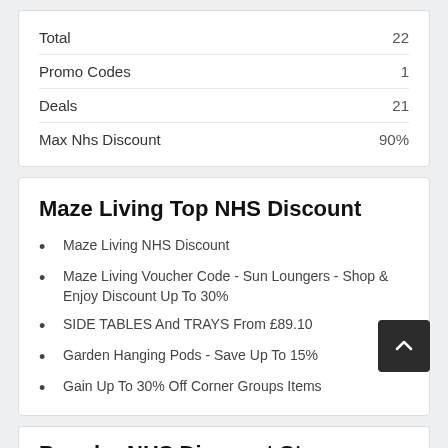|  |  |
| --- | --- |
| Total | 22 |
| Promo Codes | 1 |
| Deals | 21 |
| Max Nhs Discount | 90% |
Maze Living Top NHS Discount
Maze Living NHS Discount
Maze Living Voucher Code - Sun Loungers - Shop & Enjoy Discount Up To 30%
SIDE TABLES And TRAYS From £89.10
Garden Hanging Pods - Save Up To 15%
Gain Up To 30% Off Corner Groups Items
Popular NHS Discount Stores